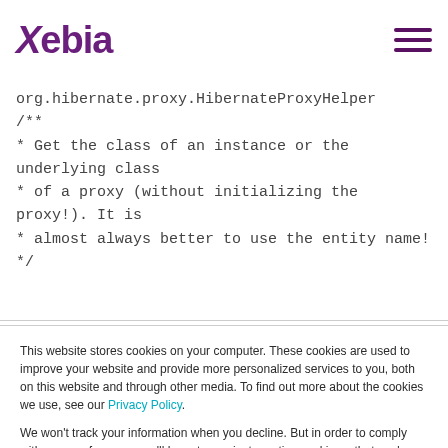Xebia
org.hibernate.proxy.HibernateProxyHelper
/**
* Get the class of an instance or the underlying class
* of a proxy (without initializing the proxy!). It is
* almost always better to use the entity name!
*/
This website stores cookies on your computer. These cookies are used to improve your website and provide more personalized services to you, both on this website and through other media. To find out more about the cookies we use, see our Privacy Policy.

We won't track your information when you decline. But in order to comply with your preferences, we'll have to use just one tiny cookie so that you're not asked to make this choice again.
Accept | Decline